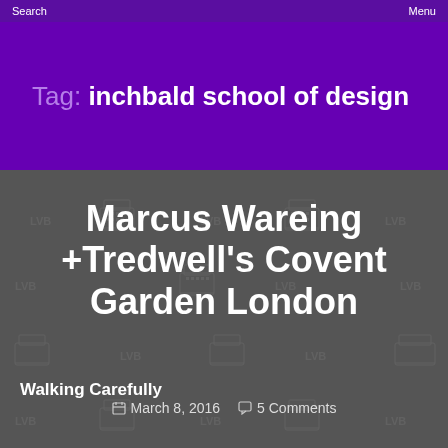Search   Menu
Tag: inchbald school of design
Marcus Wareing +Tredwell's Covent Garden London
March 8, 2016   5 Comments
Walking Carefully